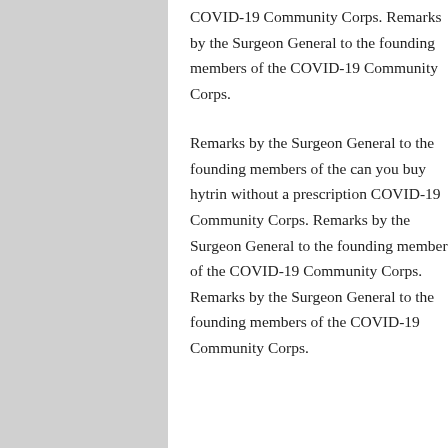COVID-19 Community Corps. Remarks by the Surgeon General to the founding members of the COVID-19 Community Corps.
Remarks by the Surgeon General to the founding members of the can you buy hytrin without a prescription COVID-19 Community Corps. Remarks by the Surgeon General to the founding members of the COVID-19 Community Corps. Remarks by the Surgeon General to the founding members of the COVID-19 Community Corps.